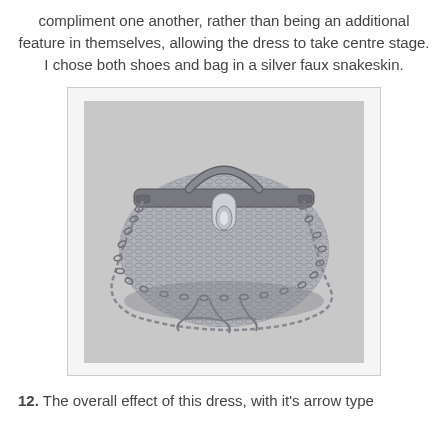compliment one another, rather than being an additional feature in themselves, allowing the dress to take centre stage. I chose both shoes and bag in a silver faux snakeskin.
[Figure (photo): A silver faux snakeskin handbag with a top handle, a decorative clasp in the center, and a chain shoulder strap that lies in front of the bag.]
12. The overall effect of this dress, with it's arrow type